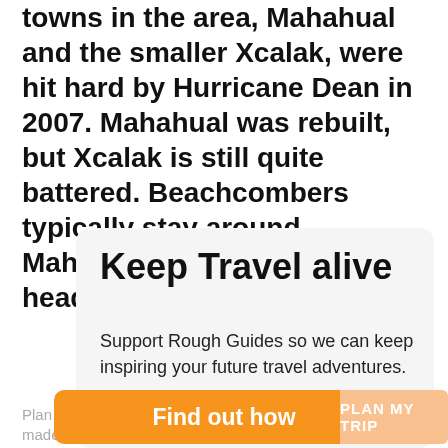towns in the area, Mahahual and the smaller Xcalak, were hit hard by Hurricane Dean in 2007. Mahahual was rebuilt, but Xcalak is still quite battered. Beachcombers typically stay around Mahahual; divers and anglers head south to Xcalak.
Keep Travel alive
Support Rough Guides so we can keep inspiring your future travel adventures.
Find out how
Plan & book tailor-made!